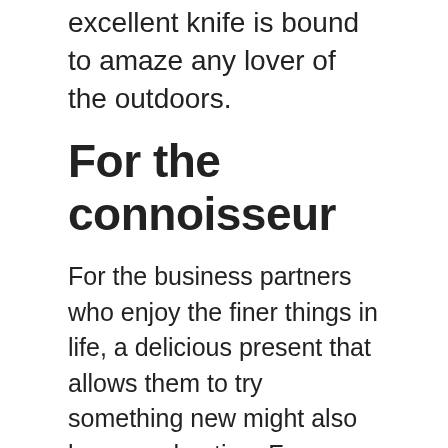excellent knife is bound to amaze any lover of the outdoors.
For the connoisseur
For the business partners who enjoy the finer things in life, a delicious present that allows them to try something new might also be a good option. For instance, you could choose a box of high-end European chocolates that will satisfy any sweet tooth, or even a gift basket of gourmet cheese combined with a nice bottle of wine for the savory types.
A more expensive bottle of their favorite drink combined with elegant glassware could also be a great gift idea, while those who don't prefer alcohol might enjoy a wonderful selection of artisan coffee